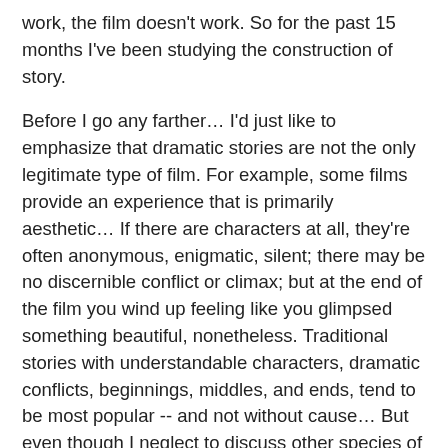work, the film doesn't work. So for the past 15 months I've been studying the construction of story.
Before I go any farther… I'd just like to emphasize that dramatic stories are not the only legitimate type of film. For example, some films provide an experience that is primarily aesthetic… If there are characters at all, they're often anonymous, enigmatic, silent; there may be no discernible conflict or climax; but at the end of the film you wind up feeling like you glimpsed something beautiful, nonetheless. Traditional stories with understandable characters, dramatic conflicts, beginnings, middles, and ends, tend to be most popular -- and not without cause… But even though I neglect to discuss other species of filmic experience here, please don't think I'm putting them down!
Back to topic… My research on story has encompassed three art forms: film, literature, and